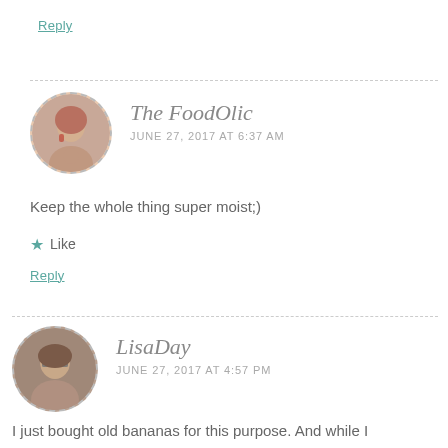Reply
[Figure (photo): Circular avatar photo of The FoodOlic commenter, a woman with reddish hair, with dashed circular border]
The FoodOlic
JUNE 27, 2017 AT 6:37 AM
Keep the whole thing super moist;)
★ Like
Reply
[Figure (photo): Circular avatar photo of LisaDay commenter, a woman with glasses and dark hair, with dashed circular border]
LisaDay
JUNE 27, 2017 AT 4:57 PM
I just bought old bananas for this purpose. And while I